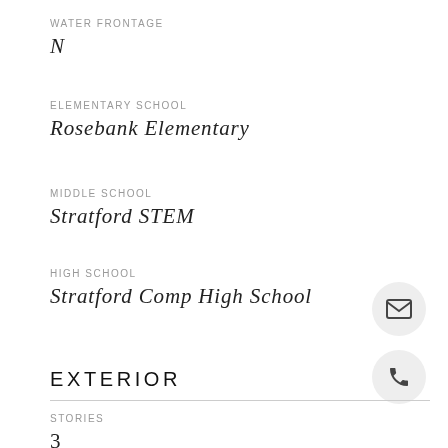WATER FRONTAGE
N
ELEMENTARY SCHOOL
Rosebank Elementary
MIDDLE SCHOOL
Stratford STEM
HIGH SCHOOL
Stratford Comp High School
EXTERIOR
STORIES
3